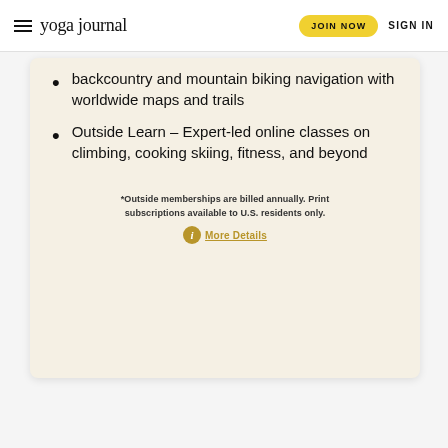yoga journal | JOIN NOW | SIGN IN
backcountry and mountain biking navigation with worldwide maps and trails
Outside Learn – Expert-led online classes on climbing, cooking skiing, fitness, and beyond
*Outside memberships are billed annually. Print subscriptions available to U.S. residents only. More Details